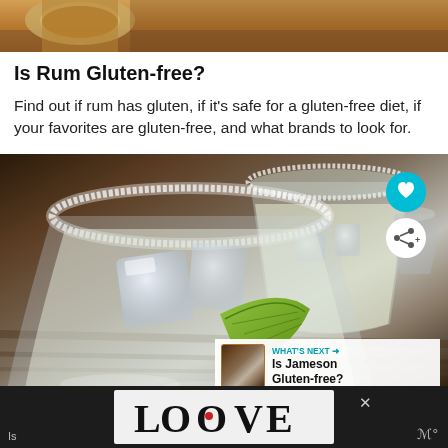[Figure (photo): Top portion of a drink/cocktail photo, cropped — amber colored liquid visible at edges]
Is Rum Gluten-free?
Find out if rum has gluten, if it's safe for a gluten-free diet, if your favorites are gluten-free, and what brands to look for.
[Figure (photo): Photo of two margarita glasses with salt rims, ice cubes, lime wedge garnish, on a wooden tray. Has UI overlays: heart button (teal), share button (white), and a 'WHAT'S NEXT' bar showing 'Is Jameson Gluten-free?'. Bottom shows an ad bar with 'LOOVE' logo and close button.]